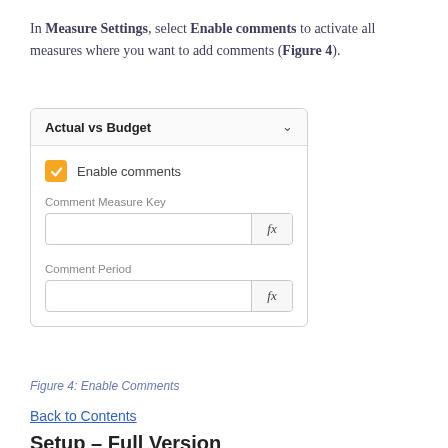In Measure Settings, select Enable comments to activate all measures where you want to add comments (Figure 4).
[Figure (screenshot): Screenshot of Measure Settings panel showing 'Actual vs Budget' dropdown with Enable comments checkbox checked (yellow), Comment Measure Key input field with fx button, and Comment Period input field with fx button.]
Figure 4: Enable Comments
Back to Contents
Setup – Full Version